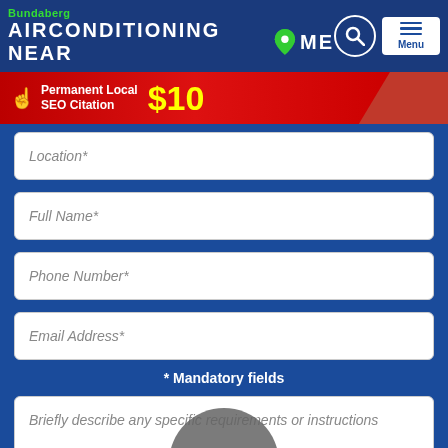Bundaberg AIRCONDITIONING NEAR ME
[Figure (infographic): Red ribbon banner advertising Permanent Local SEO Citation $10]
Location*
Full Name*
Phone Number*
Email Address*
* Mandatory fields
Briefly describe any specific requirements or instructions